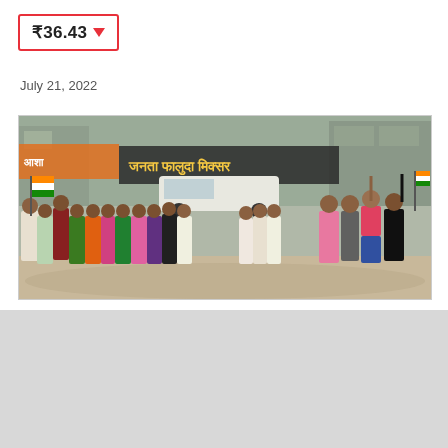₹36.43 ▼
July 21, 2022
[Figure (photo): Group of people standing on a street, some waving Indian tricolor flags and raising fists, with colorful sarees and casual clothing visible. Shop signs in Hindi script in background including 'जनता फालुदा मिक्सर'.]
₹43.11 ▼